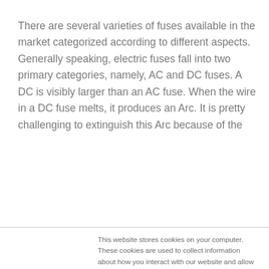There are several varieties of fuses available in the market categorized according to different aspects. Generally speaking, electric fuses fall into two primary categories, namely, AC and DC fuses. A DC is visibly larger than an AC fuse. When the wire in a DC fuse melts, it produces an Arc. It is pretty challenging to extinguish this Arc because of the
This website stores cookies on your computer. These cookies are used to collect information about how you interact with our website and allow us to remember you. We use this information in order to improve and customize your browsing experience and for analytics and metrics about our visitors both on this website and other media. To find out more about the cookies we use, see our Privacy Policy
If you decline, your information won't be tracked when you visit this website. A single cookie will be used in your browser to remember your preference not to be tracked.